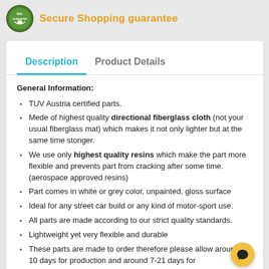[Figure (logo): SSL Guarantee badge - green circular shield logo with SSL GUARANTEE text]
Secure Shopping guarantee
Description | Product Details
General Information:
TUV Austria certified parts.
Mede of highest quality directional fiberglass cloth (not your usual fiberglass mat) which makes it not only lighter but at the same time stonger.
We use only highest quality resins which make the part more flexible and prevents part from cracking after some time. (aerospace approved resins)
Part comes in white or grey color, unpainted, gloss surface
Ideal for any street car build or any kind of motor-sport use.
All parts are made according to our strict quality standards.
Lightweight yet very flexible and durable
These parts are made to order therefore please allow around 7-10 days for production and around 7-21 days for